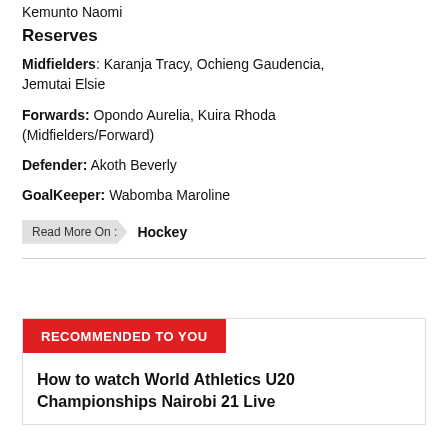Kemunto Naomi
Reserves
Midfielders: Karanja Tracy, Ochieng Gaudencia, Jemutai Elsie
Forwards: Opondo Aurelia, Kuira Rhoda (Midfielders/Forward)
Defender: Akoth Beverly
GoalKeeper: Wabomba Maroline
Read More On :   Hockey
RECOMMENDED TO YOU
How to watch World Athletics U20 Championships Nairobi 21 Live